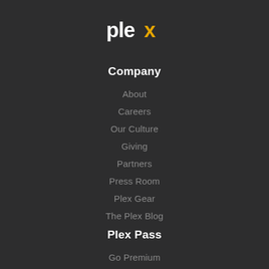[Figure (logo): Plex logo — white lowercase 'ple' followed by a yellow/gold 'x' shape]
Company
About
Careers
Our Culture
Giving
Partners
Press Room
Plex Gear
The Plex Blog
Plex Pass
Go Premium
Plex Labs